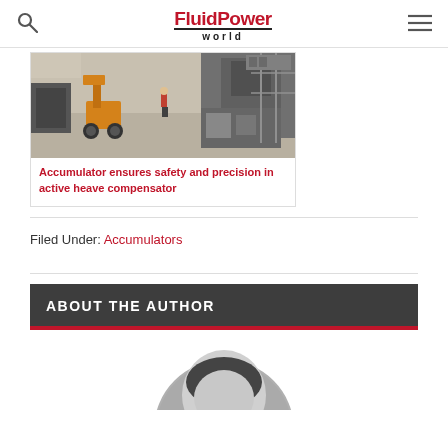FluidPower world
[Figure (photo): Industrial workshop interior with an orange aerial lift machine and workers in background]
Accumulator ensures safety and precision in active heave compensator
Filed Under: Accumulators
ABOUT THE AUTHOR
[Figure (photo): Black and white circular portrait photo of the author]